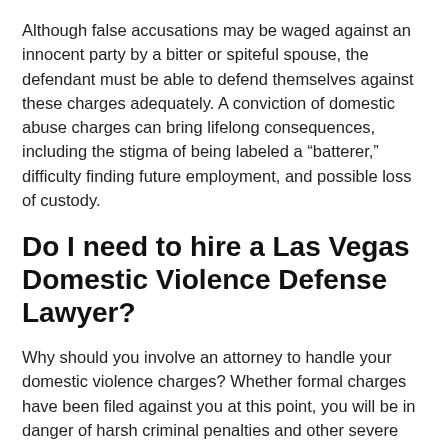Although false accusations may be waged against an innocent party by a bitter or spiteful spouse, the defendant must be able to defend themselves against these charges adequately. A conviction of domestic abuse charges can bring lifelong consequences, including the stigma of being labeled a “batterer,” difficulty finding future employment, and possible loss of custody.
Do I need to hire a Las Vegas Domestic Violence Defense Lawyer?
Why should you involve an attorney to handle your domestic violence charges? Whether formal charges have been filed against you at this point, you will be in danger of harsh criminal penalties and other severe consequences if you are eventually found guilty of domestic violence. Nevada, like all